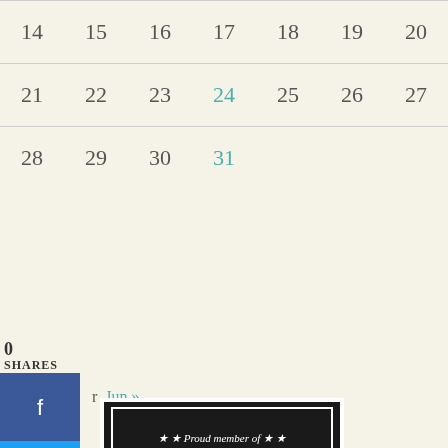| 14 | 15 | 16 | 17 | 18 | 19 | 20 |
| --- | --- | --- | --- | --- | --- | --- |
| 21 | 22 | 23 | 24 | 25 | 26 | 27 |
| 28 | 29 | 30 | 31 |  |  |  |
0
SHARES
« Apr   Jun »
[Figure (logo): The Internet Defense League badge - black shield shape with text 'Proud member of THE INTERNET DEFENSE LEAGUE' with stars]